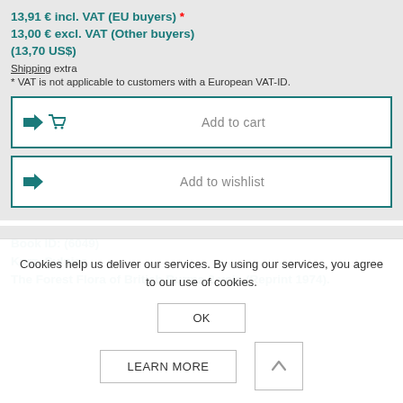13,91 € incl. VAT (EU buyers) *
13,00 € excl. VAT (Other buyers)
(13,70 US$)
Shipping extra
* VAT is not applicable to customers with a European VAT-ID.
Add to cart
Add to wishlist
Book ID: (6049)
Kurz, Sulpice
The Forest Flora of British Burma.2 vols.(Reprint 1974).
Cookies help us deliver our services. By using our services, you agree to our use of cookies.
OK
LEARN MORE